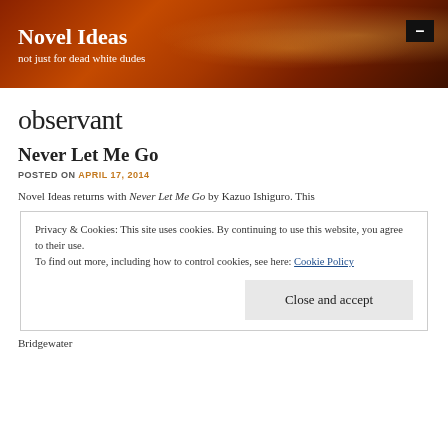Novel Ideas
not just for dead white dudes
observant
Never Let Me Go
POSTED ON APRIL 17, 2014
Novel Ideas returns with Never Let Me Go by Kazuo Ishiguro. This
Privacy & Cookies: This site uses cookies. By continuing to use this website, you agree to their use.
To find out more, including how to control cookies, see here: Cookie Policy
Close and accept
Bridgewater